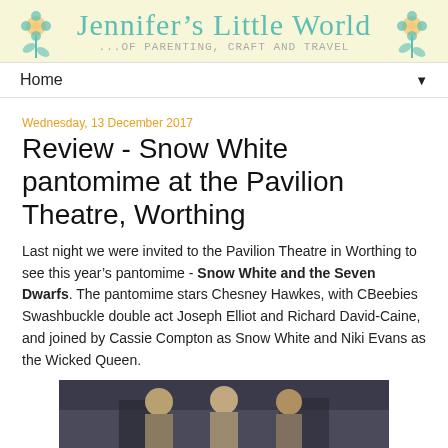Jennifer's Little World ...of parenting, craft and travel
Home
Wednesday, 13 December 2017
Review - Snow White pantomime at the Pavilion Theatre, Worthing
Last night we were invited to the Pavilion Theatre in Worthing to see this year's pantomime - Snow White and the Seven Dwarfs. The pantomime stars Chesney Hawkes, with CBeebies Swashbuckle double act Joseph Elliot and Richard David-Caine, and joined by Cassie Compton as Snow White and Niki Evans as the Wicked Queen.
[Figure (photo): Photo of performers on stage at the Snow White pantomime at Pavilion Theatre, Worthing]